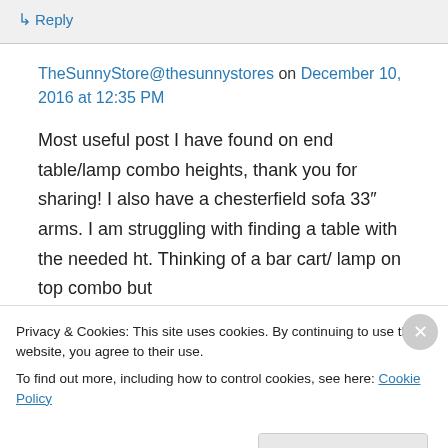↳ Reply
TheSunnyStore@thesunnystores on December 10, 2016 at 12:35 PM
Most useful post I have found on end table/lamp combo heights, thank you for sharing! I also have a chesterfield sofa 33″ arms. I am struggling with finding a table with the needed ht. Thinking of a bar cart/ lamp on top combo but
Privacy & Cookies: This site uses cookies. By continuing to use this website, you agree to their use.
To find out more, including how to control cookies, see here: Cookie Policy
Close and accept